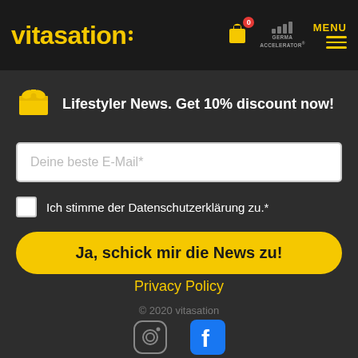vitasation — MENU (with cart icon and Germania Accelerator logo)
Lifestyler News. Get 10% discount now!
Deine beste E-Mail*
Ich stimme der Datenschutzerklärung zu.*
Ja, schick mir die News zu!
Privacy Policy
© 2020 vitasation
[Figure (illustration): Instagram and Facebook social media icons at the bottom of the page]